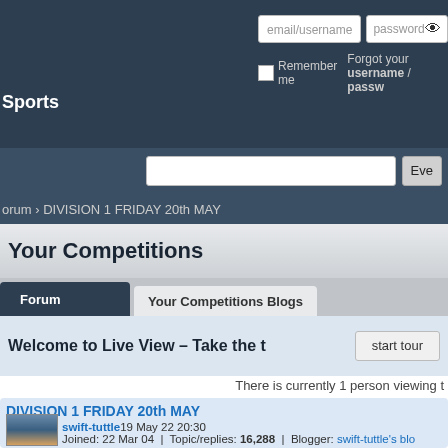email/username | password | Log In | Remember me | Forgot your username / password
Sports
Search bar | Eve
orum › DIVISION 1 FRIDAY 20th MAY
Your Competitions
Forum | Your Competitions Blogs
Welcome to Live View – Take the t
start tour
There is currently 1 person viewing t
DIVISION 1 FRIDAY 20th MAY
swift-tuttle 19 May 22 20:30
Joined: 22 Mar 04 | Topic/replies: 16,288 | Blogger: swift-tuttle's blo